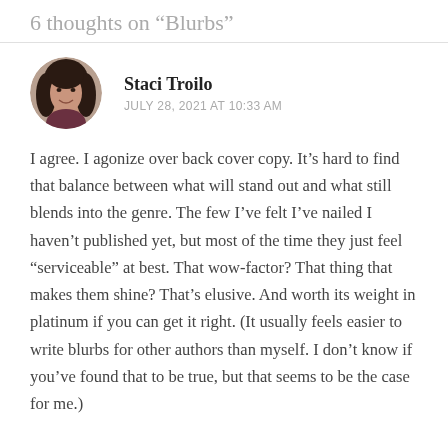6 thoughts on "Blurbs"
[Figure (photo): Circular avatar photo of Staci Troilo, a woman with dark curly hair]
Staci Troilo
JULY 28, 2021 AT 10:33 AM
I agree. I agonize over back cover copy. It's hard to find that balance between what will stand out and what still blends into the genre. The few I've felt I've nailed I haven't published yet, but most of the time they just feel "serviceable" at best. That wow-factor? That thing that makes them shine? That's elusive. And worth its weight in platinum if you can get it right. (It usually feels easier to write blurbs for other authors than myself. I don't know if you've found that to be true, but that seems to be the case for me.)